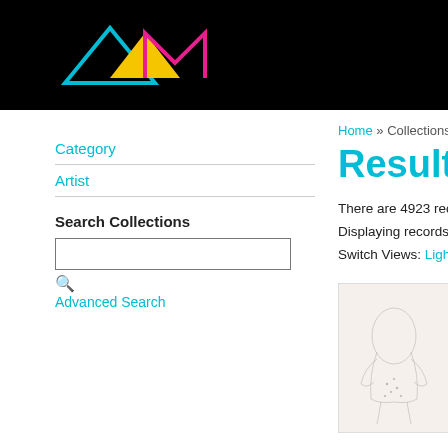[Figure (logo): AAM museum logo with cyan triangle outline, yellow filled triangle, and magenta M shape on black background]
Category
Artist
Search Collections
Advanced Search
Home » Collections
Results
There are 4923 records ma… Displaying records 3961 to… Switch Views: Lightbox | In…
[Figure (photo): Artwork thumbnail showing a sketched or etched figure drawing on cream/beige paper]